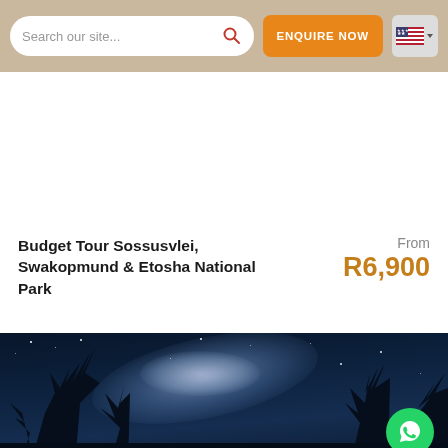Search our site... | ENQUIRE NOW
Budget Tour Sossusvlei, Swakopmund & Etosha National Park
From R6,900
[Figure (photo): Night sky / Milky Way photo with silhouetted bare tree branches in foreground, deep blue starry sky with bright galactic core]